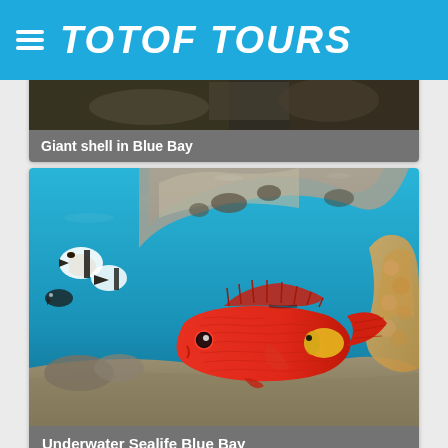TOTOF TOURS
Giant shell in Blue Bay
[Figure (photo): Underwater photo showing a red tropical fish (soldierfish) in front of coral reef with other fish visible, Blue Bay]
Underwater Sealife Blue Bay
[Figure (photo): Partially visible underwater/ocean photo at bottom of page]